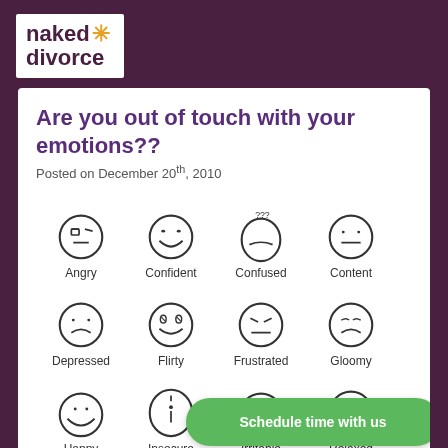[Figure (logo): Naked Divorce logo with orange star/asterisk, white background]
Are you out of touch with your emotions??
Posted on December 20th, 2010
[Figure (illustration): Grid of 12 hand-drawn emotion faces: Angry, Confident, Confused, Content, Depressed, Flirty, Frustrated, Gloomy, Happy, Insecure, Irritable, Relaxed, Spacey, Stressed, and two partially visible]
Schedule time with us